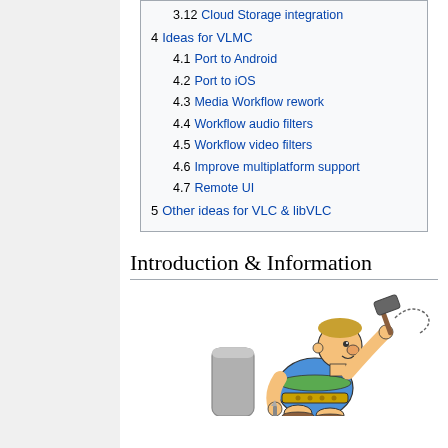3.12 Cloud Storage integration
4 Ideas for VLMC
4.1 Port to Android
4.2 Port to iOS
4.3 Media Workflow rework
4.4 Workflow audio filters
4.5 Workflow video filters
4.6 Improve multiplatform support
4.7 Remote UI
5 Other ideas for VLC & libVLC
Introduction & Information
[Figure (illustration): Cartoon illustration of Obelix character (from Asterix comics) holding a hammer and nail, wearing a blue and green outfit]